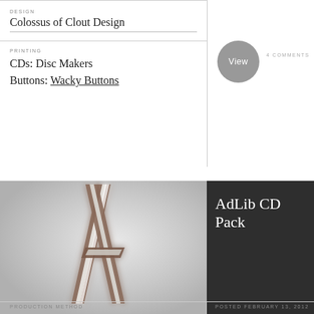DESIGN
Colossus of Clout Design
PRINTING
CDs: Disc Makers
Buttons: Wacky Buttons
View
4 COMMENTS
[Figure (photo): Stylized letter A graphic with metallic/chrome appearance on a light grey gradient background]
AdLib CD Pack
PRODUCTION METHOD
POSTED FEBRUARY 13, 2012